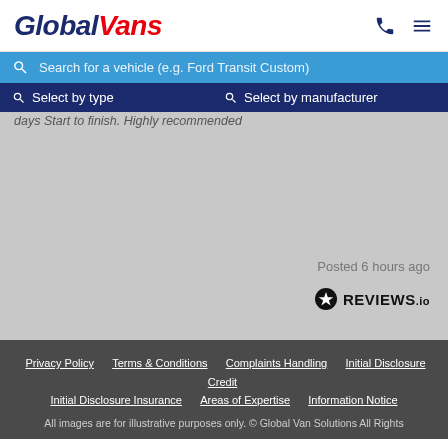GlobalVans
Search for a vehicle (e.g. Ford Transit Custom)
Select by type   Select by manufacturer
days Start to finish. Highly recommended
Posted 6 hours ago
[Figure (logo): REVIEWS.io logo with star icon]
Privacy Policy   Terms & Conditions   Complaints Handling   Initial Disclosure Credit   Initial Disclosure Insurance   Areas of Expertise   Information Notice
All images are for illustrative purposes only. © Global Van Solutions All Rights